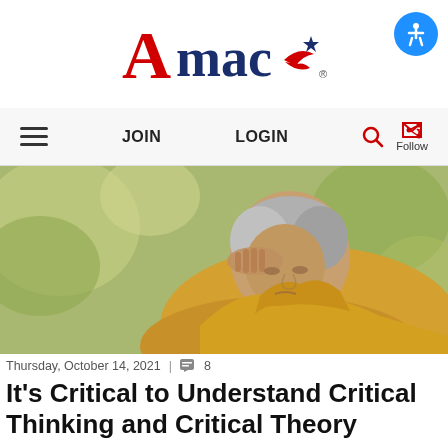AMAC logo and accessibility icon
JOIN   LOGIN   Follow
[Figure (photo): Elderly woman in yellow turtleneck sweater holding her hand to her forehead, looking downward with a worried expression, outdoor background with blurred foliage]
Thursday, October 14, 2021  |  💬 8
It's Critical to Understand Critical Thinking and Critical Theory